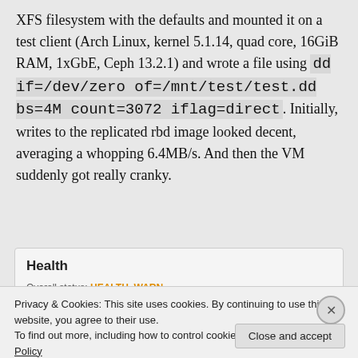XFS filesystem with the defaults and mounted it on a test client (Arch Linux, kernel 5.1.14, quad core, 16GiB RAM, 1xGbE, Ceph 13.2.1) and wrote a file using dd if=/dev/zero of=/mnt/test/test.dd bs=4M count=3072 iflag=direct. Initially, writes to the replicated rbd image looked decent, averaging a whopping 6.4MB/s. And then the VM suddenly got really cranky.
[Figure (screenshot): Health status panel showing 'Overall status: HEALTH_WARN']
Privacy & Cookies: This site uses cookies. By continuing to use this website, you agree to their use. To find out more, including how to control cookies, see here: Cookie Policy
Close and accept